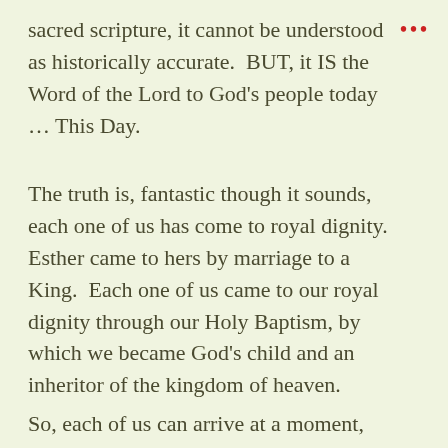sacred scripture, it cannot be understood as historically accurate.  BUT, it IS the Word of the Lord to God's people today … This Day.
The truth is, fantastic though it sounds, each one of us has come to royal dignity. Esther came to hers by marriage to a King.  Each one of us came to our royal dignity through our Holy Baptism, by which we became God's child and an inheritor of the kingdom of heaven.
So, each of us can arrive at a moment,